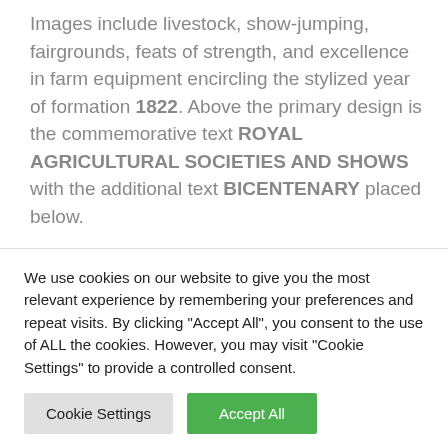Images include livestock, show-jumping, fairgrounds, feats of strength, and excellence in farm equipment encircling the stylized year of formation 1822. Above the primary design is the commemorative text ROYAL AGRICULTURAL SOCIETIES AND SHOWS with the additional text BICENTENARY placed below.
Both coin options depicting on the obverse the Jody Clark Commonwealth effigy of Her Majesty Queen Elizabeth II along with the monetary denomination placed below her likeness. the year 2022 is also shown in the legend above the
We use cookies on our website to give you the most relevant experience by remembering your preferences and repeat visits. By clicking "Accept All", you consent to the use of ALL the cookies. However, you may visit "Cookie Settings" to provide a controlled consent.